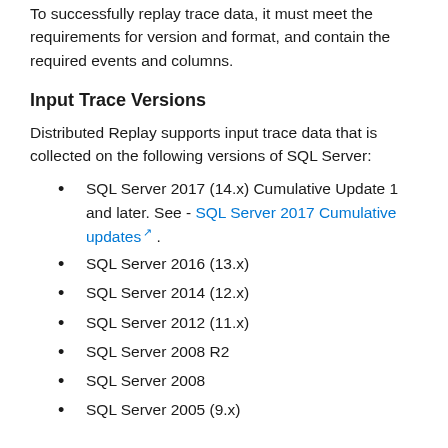To successfully replay trace data, it must meet the requirements for version and format, and contain the required events and columns.
Input Trace Versions
Distributed Replay supports input trace data that is collected on the following versions of SQL Server:
SQL Server 2017 (14.x) Cumulative Update 1 and later. See - SQL Server 2017 Cumulative updates.
SQL Server 2016 (13.x)
SQL Server 2014 (12.x)
SQL Server 2012 (11.x)
SQL Server 2008 R2
SQL Server 2008
SQL Server 2005 (9.x)